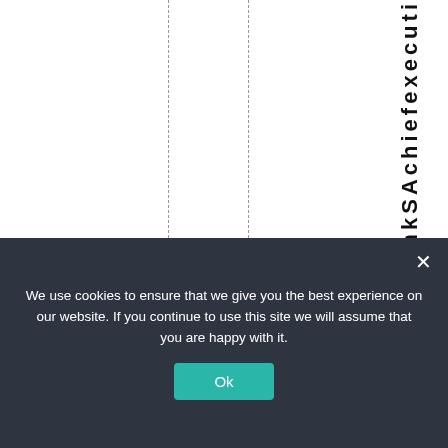bankSAchiefexecuti
We use cookies to ensure that we give you the best experience on our website. If you continue to use this site we will assume that you are happy with it.